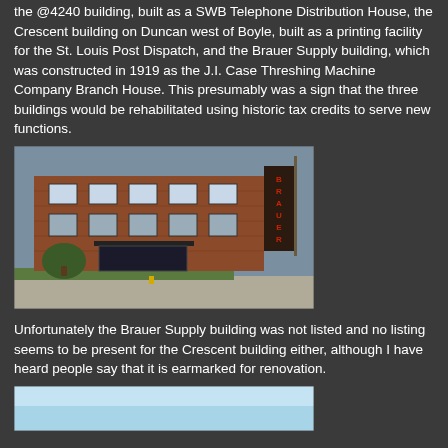the @4240 building, built as a SWB Telephone Distribution House, the Crescent building on Duncan west of Boyle, built as a printing facility for the St. Louis Post Dispatch, and the Brauer Supply building, which was constructed in 1919 as the J.I. Case Threshing Machine Company Branch House. This presumably was a sign that the three buildings would be rehabilitated using historic tax credits to serve new functions.
[Figure (photo): Exterior photograph of the Brauer Supply building, a two-story red brick commercial building with signage reading BRAUER vertically on the right side, street-level entrance with large windows, and trees/landscaping in front.]
Unfortunately the Brauer Supply building was not listed and no listing seems to be present for the Crescent building either, although I have heard people say that it is earmarked for renovation.
[Figure (photo): Partial view of another building photograph, showing a light blue sky at the top, cropped at the bottom of the page.]